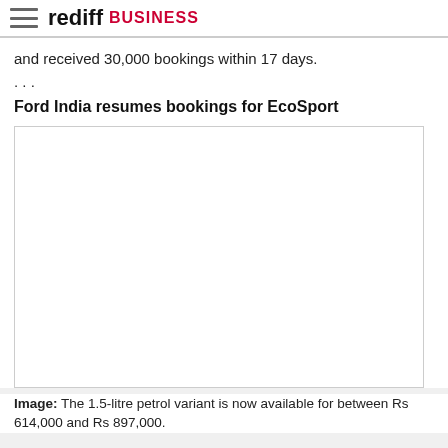rediff BUSINESS
and received 30,000 bookings within 17 days.
. . .
Ford India resumes bookings for EcoSport
[Figure (photo): Blank white image placeholder for Ford EcoSport photo]
Image: The 1.5-litre petrol variant is now available for between Rs 614,000 and Rs 897,000.